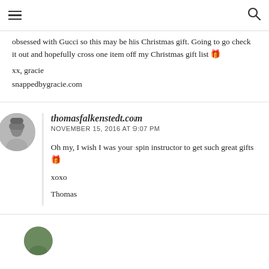≡  🔍
obsessed with Gucci so this may be his Christmas gift. Going to go check it out and hopefully cross one item off my Christmas gift list 🎁
xx, gracie
snappedbygracie.com
thomasfalkenstedt.com
NOVEMBER 15, 2016 AT 9:07 PM
Oh my, I wish I was your spin instructor to get such great gifts 🎁
xoxo
Thomas